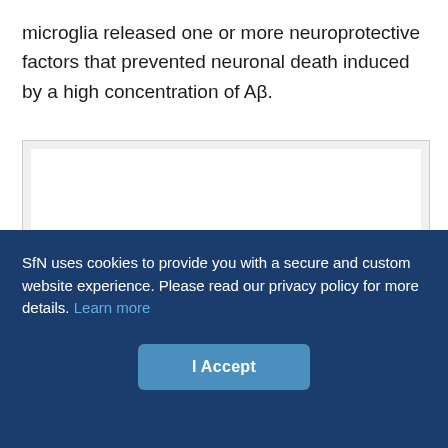microglia released one or more neuroprotective factors that prevented neuronal death induced by a high concentration of Aβ.
[Figure (other): White rectangular figure area with light gray border and background, content not visible (blank/redacted figure panel).]
SfN uses cookies to provide you with a secure and custom website experience. Please read our privacy policy for more details. Learn more